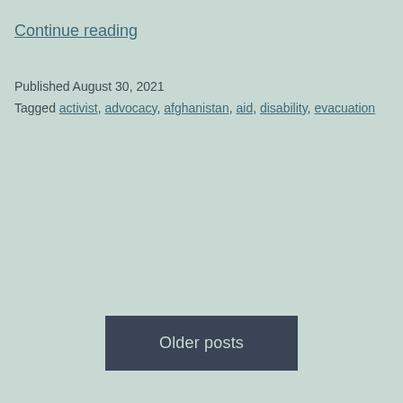Continue reading
Published August 30, 2021
Tagged activist, advocacy, afghanistan, aid, disability, evacuation
Older posts